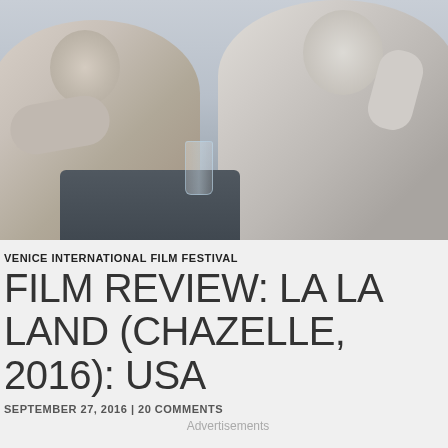[Figure (photo): Two people sitting at a table or counter, photographed from behind/side angle. Muted, desaturated cinematic tones. A glass is visible on the surface between them.]
VENICE INTERNATIONAL FILM FESTIVAL
FILM REVIEW: LA LA LAND (CHAZELLE, 2016): USA
SEPTEMBER 27, 2016 | 20 COMMENTS
Advertisements